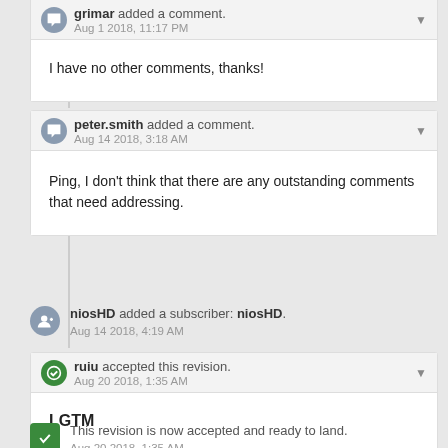grimar added a comment. Aug 1 2018, 11:17 PM
I have no other comments, thanks!
peter.smith added a comment. Aug 14 2018, 3:18 AM
Ping, I don't think that there are any outstanding comments that need addressing.
niosHD added a subscriber: niosHD. Aug 14 2018, 4:19 AM
ruiu accepted this revision. Aug 20 2018, 1:35 AM
LGTM
This revision is now accepted and ready to land. Aug 20 2018, 1:35 AM